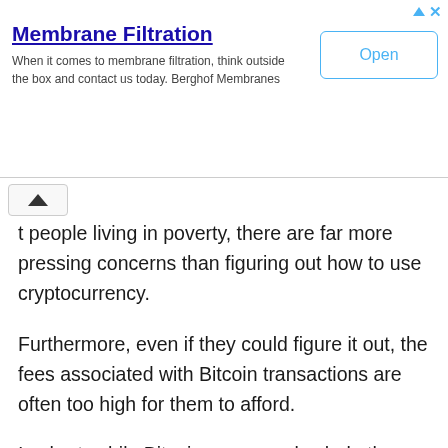[Figure (other): Advertisement banner for Membrane Filtration by Berghof Membranes with an Open button]
t people living in poverty, there are far more pressing concerns than figuring out how to use cryptocurrency.
Furthermore, even if they could figure it out, the fees associated with Bitcoin transactions are often too high for them to afford.
In short, while Bitcoin may one day help the unbanked, that day is still very far off. For now, they would be better off using more traditional means of payment.